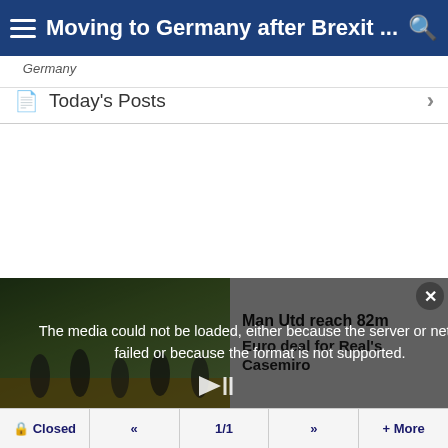Moving to Germany after Brexit ...
Today's Posts
[Figure (screenshot): Media player error overlay on a soccer/football match video. Left side shows players on a field. Overlay text reads: The media could not be loaded, either because the server or network failed or because the format is not supported. Right side shows gray panel with text: Man Utd reach 82m Euro deal for Real's Casemiro. Close button (X) in top right corner. Play button at bottom center.]
Closed  «  1/1  »  + More